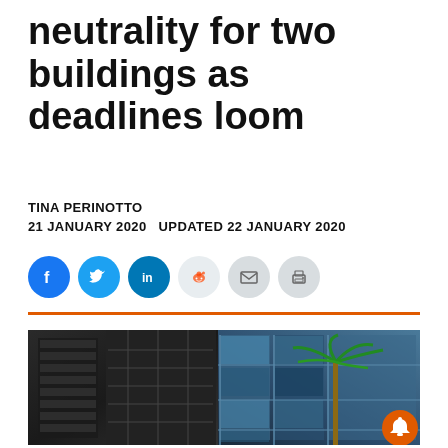neutrality for two buildings as deadlines loom
TINA PERINOTTO
21 JANUARY 2020   UPDATED 22 JANUARY 2020
[Figure (infographic): Social media share icons: Facebook, Twitter, LinkedIn, Reddit, Email, Print]
[Figure (photo): Photograph of two modern commercial buildings with glass facades and a palm tree, taken from a low angle against a blue sky]